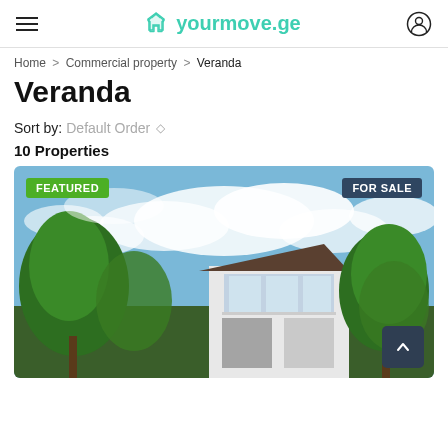yourmove.ge
Home > Commercial property > Veranda
Veranda
Sort by: Default Order
10 Properties
[Figure (photo): Exterior photo of a modern two-story house with glass balcony, surrounded by leafy green trees under a blue cloudy sky. Tagged FEATURED (green badge, top-left) and FOR SALE (dark blue badge, top-right).]